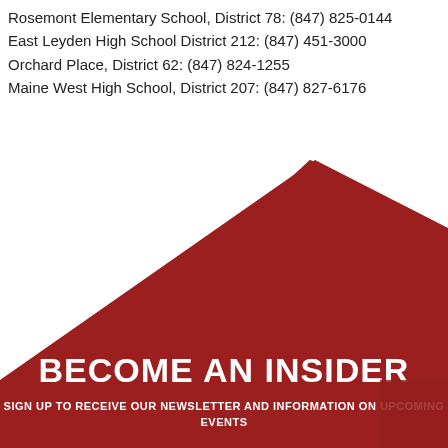Rosemont Elementary School, District 78: (847) 825-0144
East Leyden High School District 212: (847) 451-3000
Orchard Place, District 62: (847) 824-1255
Maine West High School, District 207: (847) 827-6176
[Figure (illustration): Large dark red geometric hexagon/diamond shape filling the lower two-thirds of the page, with a white background above.]
BECOME AN INSIDER
SIGN UP TO RECEIVE OUR NEWSLETTER AND INFORMATION ON UPCOMING EVENTS